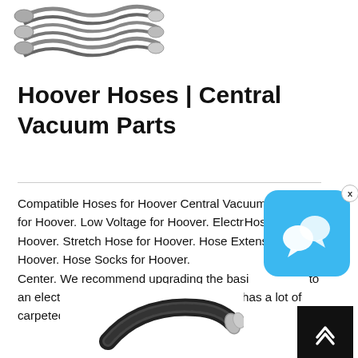[Figure (photo): Coiled metallic/braided vacuum hoses with connectors at top of page]
Hoover Hoses | Central Vacuum Parts
Compatible Hoses for Hoover Central Vacuum: Basic Hoses for Hoover. Low Voltage for Hoover. Electric Hoses for Hoover. Stretch Hose for Hoover. Hose Extension for Hoover. Hose Socks for Hoover. Help Center. We recommend upgrading the basic hose to an electric hose with pig tail if your house has a lot of carpeted flooring, as this will
[Figure (photo): Black/dark braided vacuum hose with silver connector ends at bottom of page]